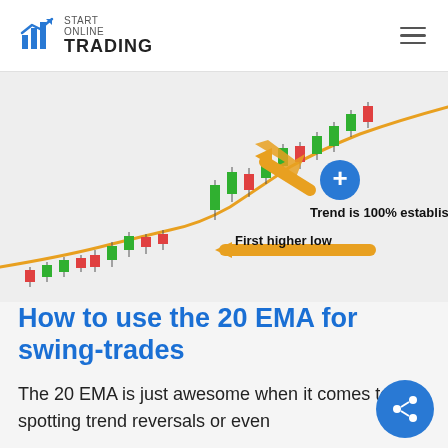START ONLINE TRADING
[Figure (illustration): Candlestick chart with an orange EMA curve. Annotations show 'Trend is 100% established' with a blue plus circle and an upward arrow, and 'First higher low' with a rightward arrow pointing left to candlesticks.]
How to use the 20 EMA for swing-trades
The 20 EMA is just awesome when it comes to spotting trend reversals or even